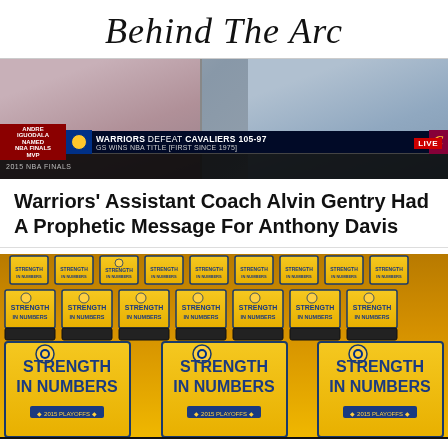Behind The Arc
[Figure (photo): TV broadcast screenshot showing NBA Finals coverage: Warriors defeat Cavaliers 105-97, GS wins NBA title (first since 1975). Two men visible in foreground. Ticker shows Andre Iguodala named NBA Finals MVP.]
Warriors' Assistant Coach Alvin Gentry Had A Prophetic Message For Anthony Davis
[Figure (photo): Arena seats with yellow 'Strength In Numbers' Golden State Warriors playoff t-shirts draped over them. Multiple rows of black seats covered in yellow shirts.]